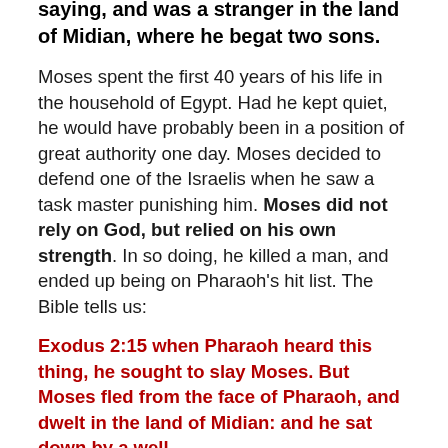saying, and was a stranger in the land of Midian, where he begat two sons.
Moses spent the first 40 years of his life in the household of Egypt. Had he kept quiet, he would have probably been in a position of great authority one day. Moses decided to defend one of the Israelis when he saw a task master punishing him. Moses did not rely on God, but relied on his own strength. In so doing, he killed a man, and ended up being on Pharaoh’s hit list. The Bible tells us:
Exodus 2:15 when Pharaoh heard this thing, he sought to slay Moses. But Moses fled from the face of Pharaoh, and dwelt in the land of Midian: and he sat down by a well.
Moses was 40 years old when he ran away from Pharaoh.